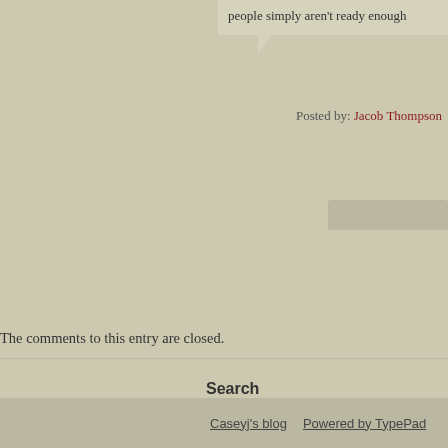people simply aren't ready enough
Posted by: Jacob Thompson
The comments to this entry are closed.
Search
[Figure (screenshot): Search input box with Search button]
[Figure (infographic): Profile card for Caseyj with avatar, Follow button, 0 Following and 218 Followers stats]
Caseyj's blog  Powered by TypePad